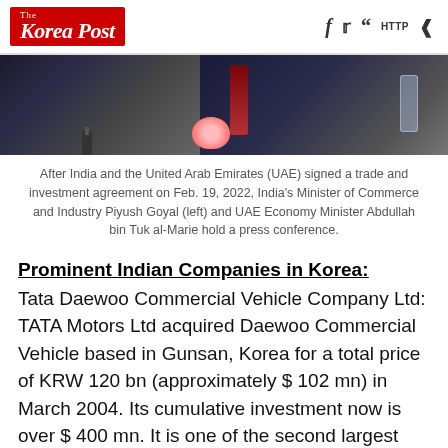The Korea Post
[Figure (photo): Two people seated at a press conference table with a floral arrangement in the center, photographed from a low angle showing only the upper portion of the image.]
After India and the United Arab Emirates (UAE) signed a trade and investment agreement on Feb. 19, 2022, India's Minister of Commerce and Industry Piyush Goyal (left) and UAE Economy Minister Abdullah bin Tuk al-Marie hold a press conference.
Prominent Indian Companies in Korea:
Tata Daewoo Commercial Vehicle Company Ltd: TATA Motors Ltd acquired Daewoo Commercial Vehicle based in Gunsan, Korea for a total price of KRW 120 bn (approximately $ 102 mn) in March 2004. Its cumulative investment now is over $ 400 mn. It is one of the second largest MHCVs manufacturer in